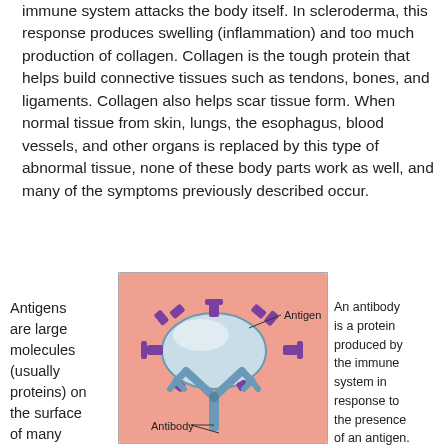immune system attacks the body itself. In scleroderma, this response produces swelling (inflammation) and too much production of collagen. Collagen is the tough protein that helps build connective tissues such as tendons, bones, and ligaments. Collagen also helps scar tissue form. When normal tissue from skin, lungs, the esophagus, blood vessels, and other organs is replaced by this type of abnormal tissue, none of these body parts work as well, and many of the symptoms previously described occur.
Antigens are large molecules (usually proteins) on the surface of many cells, both
[Figure (illustration): Diagram showing an antigen (large rounded cell with purple protrusion markers on its surface) and an antibody (Y-shaped blue protein) labeled. Background is salmon/peach colored. Labels point to 'Antigen' and 'Antibody'.]
An antibody is a protein produced by the immune system in response to the presence of an antigen.